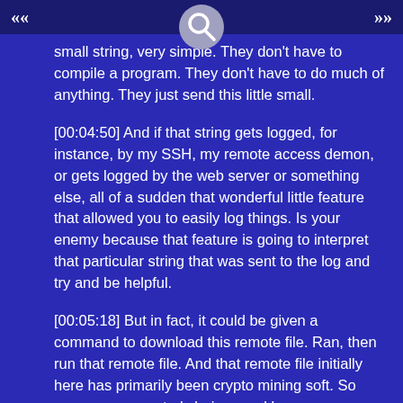small string, very simple. They don't have to compile a program. They don't have to do much of anything. They just send this little small.
[00:04:50] And if that string gets logged, for instance, by my SSH, my remote access demon, or gets logged by the web server or something else, all of a sudden that wonderful little feature that allowed you to easily log things. Is your enemy because that feature is going to interpret that particular string that was sent to the log and try and be helpful.
[00:05:18] But in fact, it could be given a command to download this remote file. Ran, then run that remote file. And that remote file initially here has primarily been crypto mining soft. So now your computer's being used by someone else. Your electricity's being used to mine. Things like Bitcoins or some of these other cryptocurrencies that are out.